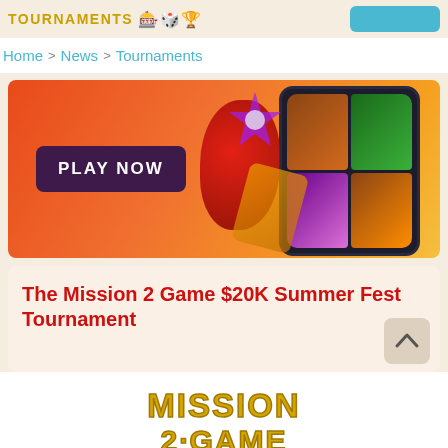TOURNAMENTS
Home > News > Tournaments
[Figure (illustration): Casino/slots promotional banner with orange-red gradient background, 'PLAY NOW' button on left, and game icons with a smartphone on the right]
The Mission 2 Game $20K Summer Fest Tournament
[Figure (logo): Mission 2 Game logo in bold golden/yellow letters: MISSION on top line, 2·GAME on second line]
[Figure (other): Partial teal button at bottom of page]